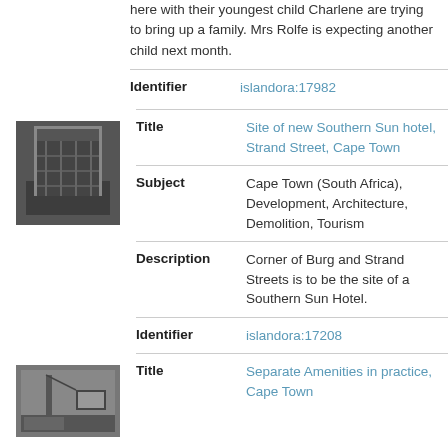here with their youngest child Charlene are trying to bring up a family. Mrs Rolfe is expecting another child next month.
Identifier	islandora:17982
[Figure (photo): Black and white photo of a building under construction with scaffolding]
Title	Site of new Southern Sun hotel, Strand Street, Cape Town
Subject	Cape Town (South Africa), Development, Architecture, Demolition, Tourism
Description	Corner of Burg and Strand Streets is to be the site of a Southern Sun Hotel.
Identifier	islandora:17208
[Figure (photo): Black and white photo of a sign or street scene, Cape Town]
Title	Separate Amenities in practice, Cape Town